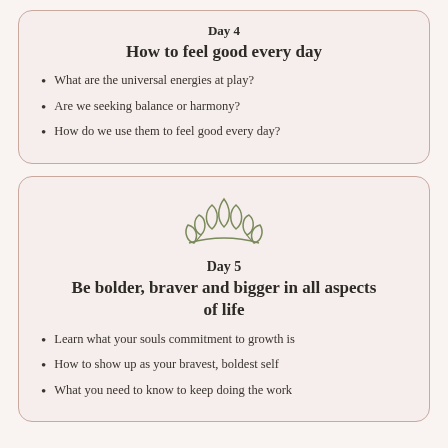Day 4
How to feel good every day
What are the universal energies at play?
Are we seeking balance or harmony?
How do we use them to feel good every day?
[Figure (illustration): Lotus flower outline illustration in olive/sage green]
Day 5
Be bolder, braver and bigger in all aspects of life
Learn what your souls commitment to growth is
How to show up as your bravest, boldest self
What you need to know to keep doing the work